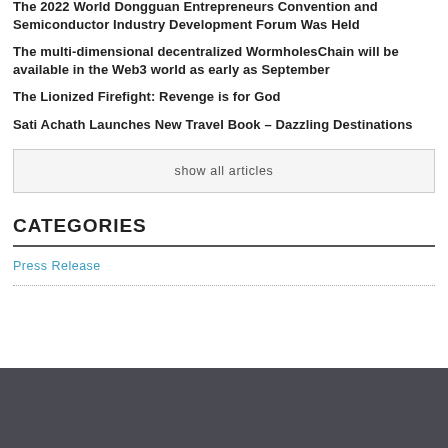The 2022 World Dongguan Entrepreneurs Convention and Semiconductor Industry Development Forum Was Held
The multi-dimensional decentralized WormholesChain will be available in the Web3 world as early as September
The Lionized Firefight: Revenge is for God
Sati Achath Launches New Travel Book – Dazzling Destinations
show all articles
CATEGORIES
Press Release